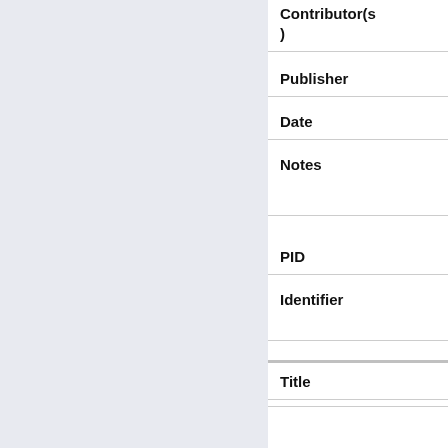[Figure (photo): Partial thumbnail image visible at top right of page]
Contributor(s)
Publisher
Date
Notes
PID
Identifier
Title
Contributor(s)
Publisher
Date